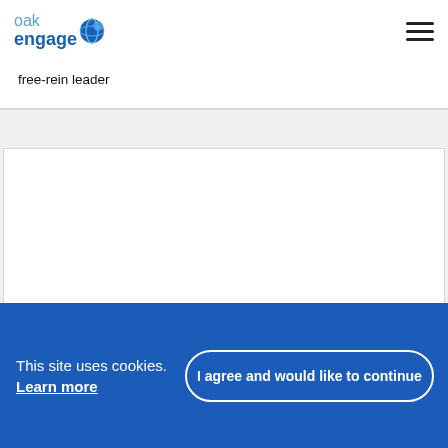oak engage (logo with globe icon) and hamburger menu
free-rein leader
[Figure (other): White content area/blank section below the text card]
This site uses cookies. Learn more   I agree and would like to continue